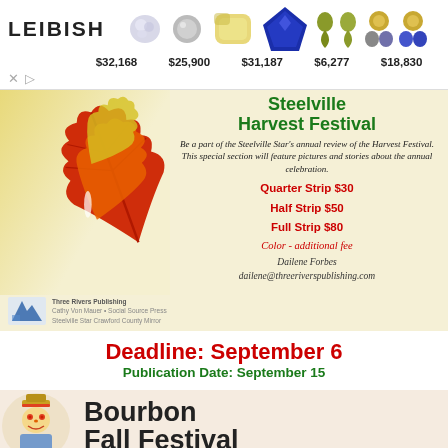[Figure (infographic): Leibish jewelry ad banner showing gemstones with prices: $32,168, $25,900, $31,187, $6,277, $18,830]
[Figure (infographic): Steelville Harvest Festival advertisement with autumn leaves, pricing for ad strips (Quarter Strip $30, Half Strip $50, Full Strip $80), contact info for Dailene Forbes at Three Rivers Publishing]
Deadline: September 6
Publication Date: September 15
[Figure (infographic): Bourbon Fall Festival advertisement banner with scarecrow illustration]